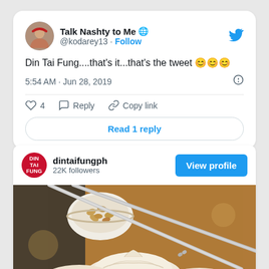[Figure (screenshot): Twitter/X tweet card from user 'Talk Nashty to Me @kodaraey13' with tweet text 'Din Tai Fung....that's it...that's the tweet 😊😊😊', timestamp '5:54 AM · Jun 28, 2019', with like/reply/copy actions and 'Read 1 reply' button]
[Figure (screenshot): Instagram profile preview card for 'dintaifungph' with 22K followers and a 'View profile' button, with a photo of dumplings being held by chopsticks]